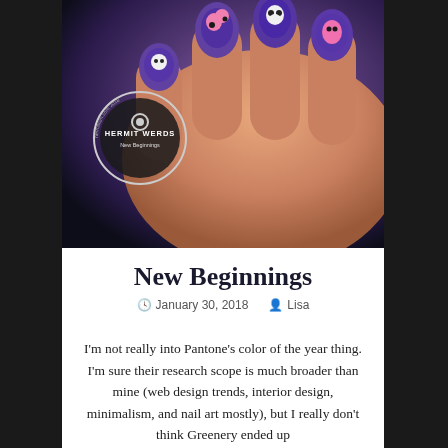[Figure (photo): Close-up photo of a hand with purple nail art featuring cartoon animal characters (pandas/raccoons) in pink, white, and black on dark purple bases. A circular badge watermark reads 'HERMIT WERDS - New Beginnings - hermitism.com 2018' with a gear icon.]
New Beginnings
January 30, 2018   Lisa
I'm not really into Pantone's color of the year thing. I'm sure their research scope is much broader than mine (web design trends, interior design, minimalism, and nail art mostly), but I really don't think Greenery ended up